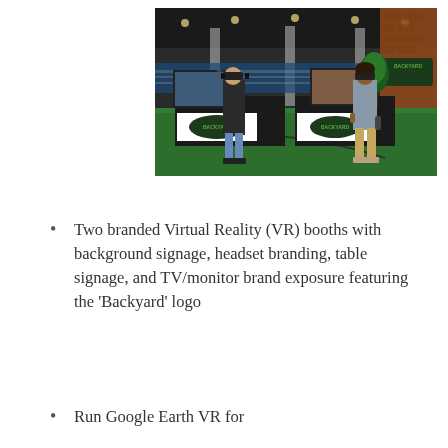[Figure (photo): Indoor convention hall showing two branded 'Backyard' VR (Virtual Reality) booths on green artificial turf. A woman wearing a VR headset stands at the left booth, and a man wearing a VR headset stands at the right booth. Large screens and branded table signage with 'Backyard' logo are visible. A brick pillar with a 'Backyard' sign is in the background along with rows of tables.]
Two branded Virtual Reality (VR) booths with background signage, headset branding, table signage, and TV/monitor brand exposure featuring the ‘Backyard’ logo
Run Google Earth VR for